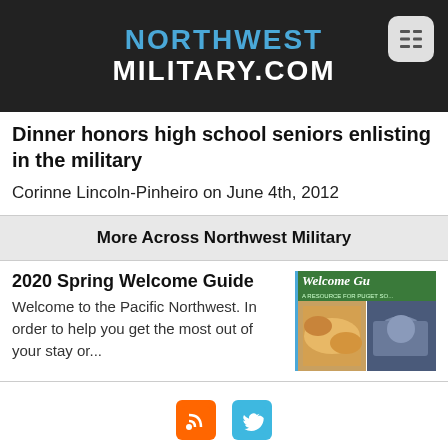NORTHWEST MILITARY.COM
Dinner honors high school seniors enlisting in the military
Corinne Lincoln-Pinheiro on June 4th, 2012
More Across Northwest Military
2020 Spring Welcome Guide
Welcome to the Pacific Northwest. In order to help you get the most out of your stay or...
[Figure (screenshot): Welcome Guide image showing food and a resource for Puget Sound]
[Figure (logo): RSS feed icon (orange square with RSS symbol) and Twitter bird icon (blue square with bird symbol)]
Content © Copyright 2022 - Northwest Military. All Rights Reserved.